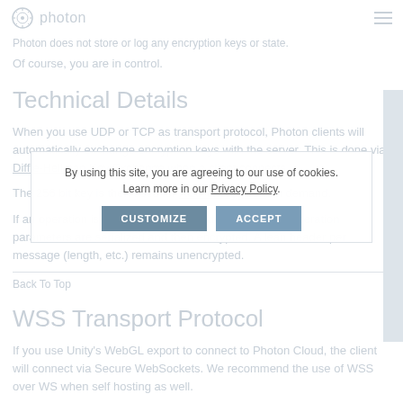photon (logo header with hamburger menu)
Photon does not store or log any encryption keys or state.
Of course, you are in control.
Technical Details
When you use UDP or TCP as transport protocol, Photon clients will automatically exchange encryption keys with the server. This is done via Diffie-Hellman Key Exchange when a client connects.
The 256 bit key is then used for AES encryption on demand.
If an operation is sent encrypted, any developer or all operation parameters are serialized and then encrypted. A lean header per message (length, etc.) remains unencrypted.
Back To Top
WSS Transport Protocol
If you use Unity's WebGL export to connect to Photon Cloud, the client will connect via Secure WebSockets. We recommend the use of WSS over WS when self hosting as well.